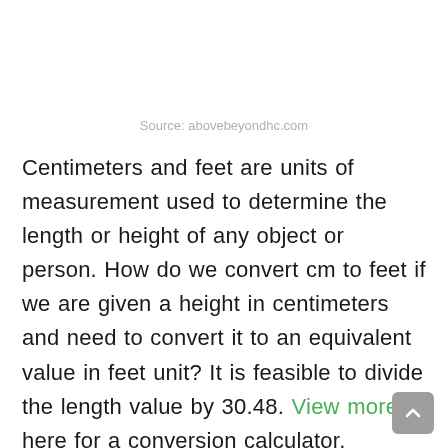Source: abovebeyondhc.com
Centimeters and feet are units of measurement used to determine the length or height of any object or person. How do we convert cm to feet if we are given a height in centimeters and need to convert it to an equivalent value in feet unit? It is feasible to divide the length value by 30.48. View more here for a conversion calculator.
We need to know the formula to convert centimeters to feet.